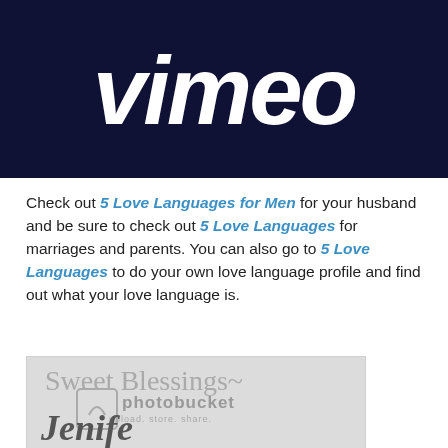[Figure (logo): Vimeo logo — white italic bold text on dark navy background]
Check out 5 Love Languages for Men for your husband and be sure to check out 5 Love Languages for marriages and parents. You can also go to 5 Love Languages to do your own love language profile and find out what your love language is.
[Figure (screenshot): Sweet Blessings photobucket image with cursive Jennifer signature text on gray background]